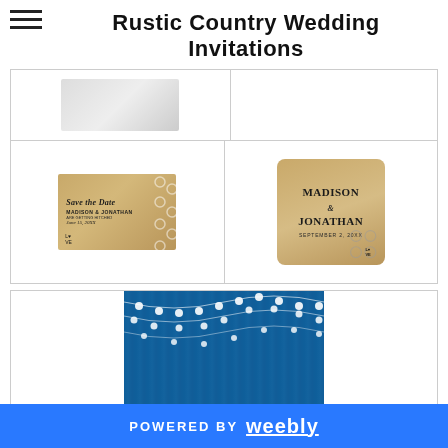Rustic Country Wedding Invitations
[Figure (photo): Grid of rustic country wedding invitation product images - top row shows a partial invitation card and empty cell; second row shows a Save the Date card (Madison & Jonathan) and a square rustic invitation card]
[Figure (photo): Blue rustic barn wedding invitation featuring string lights, wood plank background, and the name Madison in script font with 'Together with their families' text]
POWERED BY weebly